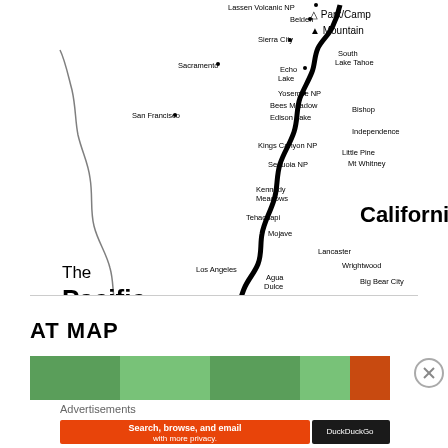[Figure (map): Map of the Pacific Crest Trail through California showing the trail route from north (Lassen Volcanic NP, Belden) to south (Mexico border). Labeled locations include: Lassen Volcanic NP, Belden, Sierra City, Sacramento, South Lake Tahoe, Echo Lake, Yosemite NP, Bees Meadow, Edison Lake, Bishop, San Francisco, Independence, Kings Canyon NP, Little Pine, Mt Whitney, Sequoia NP, Kennedy Meadows, Tehachapi, Mojave, Lancaster, Los Angeles, Wrightwood, Agua Dulce, Big Bear City, Warner Springs, Idyllwild, Mt Laguna, Campo. Legend shows Park/Camp (triangle outline) and Mountain (solid triangle). Title reads 'The Pacific Crest Trail www.pcta.org'. 'California' labeled in center and 'Mexico' at bottom right.]
AT MAP
[Figure (map): Partial map thumbnail showing green terrain, partially obscured by advertisement overlay.]